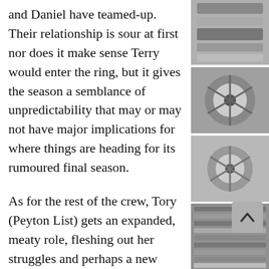and Daniel have teamed-up. Their relationship is sour at first nor does it make sense Terry would enter the ring, but it gives the season a semblance of unpredictability that may or may not have major implications for where things are heading for its rumoured final season.
As for the rest of the crew, Tory (Peyton List) gets an expanded, meaty role, fleshing out her struggles and perhaps a new relationship; Hawk (Jacob Berthand) goes through a rebirth having been brainwashed and manipulated by Cobra Kai and now learning the methods of Miyagi Do for the betterment of himself. Both have a compelling seasonal arc that complements everything “Cobra Kai” has done so well up to this point.
[Figure (photo): Black and white close-up photos of film reel reels and equipment, stacked vertically in a narrow right column]